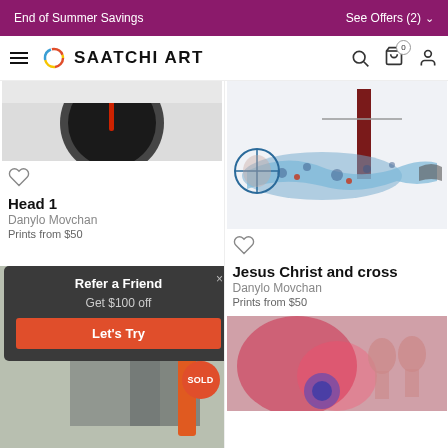End of Summer Savings   See Offers (2)
SAATCHI ART
[Figure (photo): Partial view of Head 1 artwork by Danylo Movchan, showing dark circular form with red element on light background]
Head 1
Danylo Movchan
Prints from $50
[Figure (photo): Jesus Christ and cross artwork by Danylo Movchan — blue figure of a person lying horizontally with circular target/crosshair on head, dark red vertical cross element above, on white/light background]
Jesus Christ and cross
Danylo Movchan
Prints from $50
[Figure (photo): Popup overlay: Refer a Friend — Get $100 off — Let's Try button (orange). SOLD badge (orange circle). Background shows partial artwork with geometric house shape and orange/red elements.]
[Figure (photo): Partial view of bottom-right artwork showing abstract red/pink image with figures]